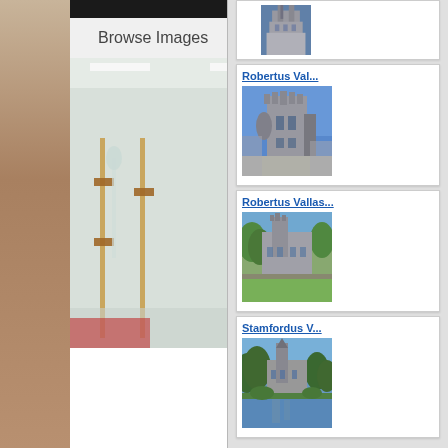[Figure (screenshot): Mobile app interface showing 'Browse Images' panel on the left with a laboratory photo (scientists in white coats with glassware), and a right panel showing a list of university building image thumbnails with titles including 'Robertus Val...', 'Robertus Vallas...', and 'Stamfordus V...']
Browse Images
[Figure (photo): Scientists in white lab coats working with glass laboratory equipment and tubing]
[Figure (photo): Gothic university building tower against blue sky - partial view at top]
Robertus Val...
[Figure (photo): Gothic university tower building against blue sky - close up]
Robertus Vallas...
[Figure (photo): University gothic building seen through trees with green lawn]
Stamfordus V...
[Figure (photo): University building with tower reflected in water, surrounded by trees]